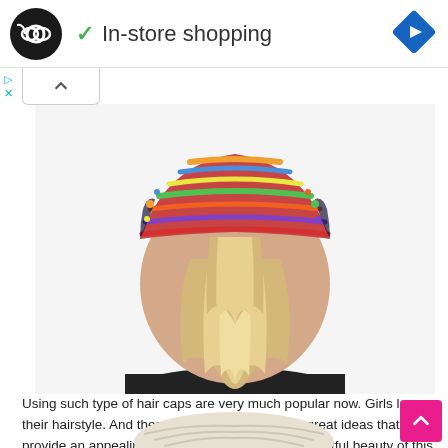In-store shopping
[Figure (photo): Back view of a person with blonde hair wearing a colorful knitted/crocheted beanie hat that has an opening for a ponytail. The hair falls loosely down the back. The person is wearing a black top.]
Using such type of hair caps are very much popular now. Girls love their hairstyle. And these beautiful caps are the great ideas that provide an appealing look with ponytails. The delightful beauty of this ponytail hairstyle will for sure make her confident.
[Figure (photo): Partial view of a white/cream colored knitted ponytail hat at the bottom of the page.]